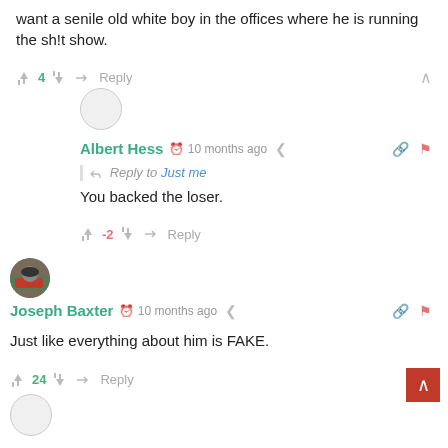want a senile old white boy in the offices where he is running the sh!t show.
👍 4 👎 → Reply ∧
Albert Hess  © 10 months ago  < | Reply to Just me
You backed the loser.
👍 -2 👎 → Reply
Joseph Baxter  © 10 months ago  < | Just like everything about him is FAKE.
👍 24 👎 → Reply ∧